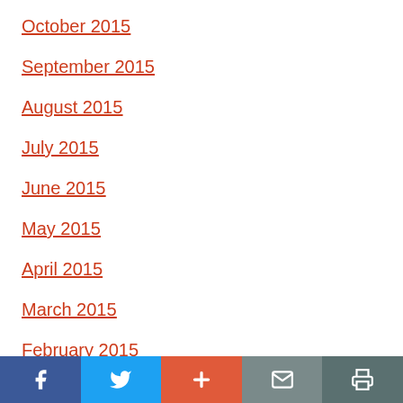October 2015
September 2015
August 2015
July 2015
June 2015
May 2015
April 2015
March 2015
February 2015
Facebook | Twitter | + | Mail | Print